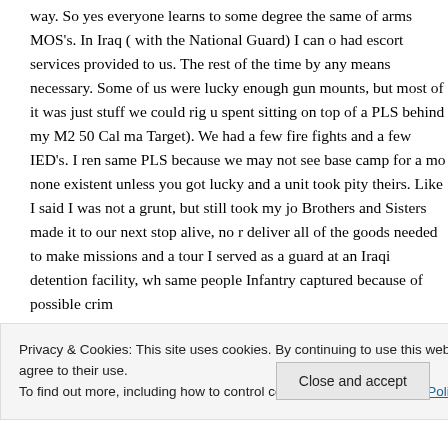way. So yes everyone learns to some degree the same of arms MOS's. In Iraq ( with the National Guard) I can o had escort services provided to us. The rest of the time by any means necessary. Some of us were lucky enough gun mounts, but most of it was just stuff we could rig u spent sitting on top of a PLS behind my M2 50 Cal ma Target). We had a few fire fights and a few IED's. I ren same PLS because we may not see base camp for a mo none existent unless you got lucky and a unit took pity theirs. Like I said I was not a grunt, but still took my jo Brothers and Sisters made it to our next stop alive, no r deliver all of the goods needed to make missions and a tour I served as a guard at an Iraqi detention facility, wh same people Infantry captured because of possible crim
Privacy & Cookies: This site uses cookies. By continuing to use this website, you agree to their use.
To find out more, including how to control cookies, see here: Cookie Policy